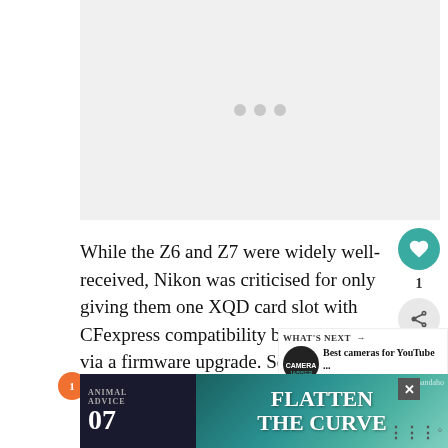[Figure (other): Loading placeholder with three grey dots centered in a light grey rectangle]
While the Z6 and Z7 were widely well-received, Nikon was criticised for only giving them one XQD card slot with CFexpress compatibility being added via a firmware upgrade. Some photographers were that they couldn't use their existing SD-type cards while others wanted the back-up of a second
[Figure (other): WHAT'S NEXT arrow banner with Camera Jabber logo and text: Best cameras for YouTube ...]
[Figure (other): Bottom advertisement banner: ANIMAL ADVICE 07 with FLATTEN THE CURVE text and @rohandaho handle, with close button]